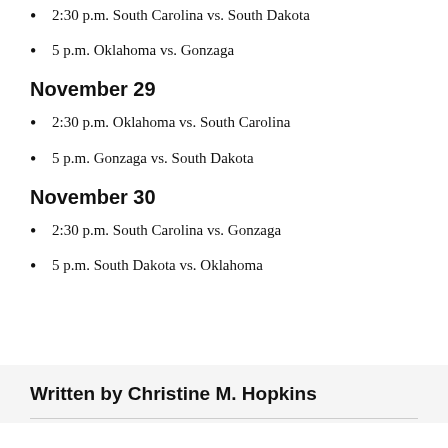2:30 p.m. South Carolina vs. South Dakota
5 p.m. Oklahoma vs. Gonzaga
November 29
2:30 p.m. Oklahoma vs. South Carolina
5 p.m. Gonzaga vs. South Dakota
November 30
2:30 p.m. South Carolina vs. Gonzaga
5 p.m. South Dakota vs. Oklahoma
Written by Christine M. Hopkins